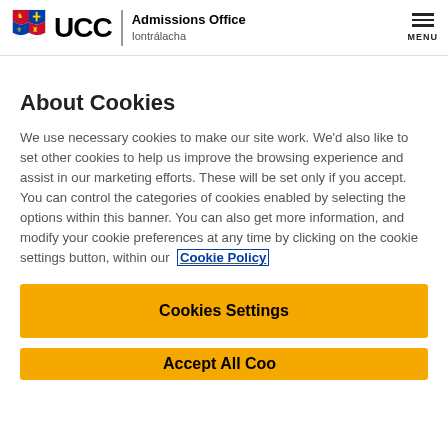UCC Admissions Office Iontrálacha
About Cookies
We use necessary cookies to make our site work. We'd also like to set other cookies to help us improve the browsing experience and assist in our marketing efforts. These will be set only if you accept. You can control the categories of cookies enabled by selecting the options within this banner. You can also get more information, and modify your cookie preferences at any time by clicking on the cookie settings button, within our Cookie Policy
Cookies Settings
Accept All Cookies